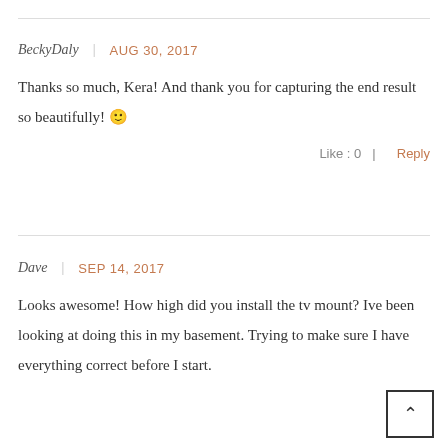BeckyDaly | AUG 30, 2017
Thanks so much, Kera! And thank you for capturing the end result so beautifully! 🙂
Like: 0 | Reply
Dave | SEP 14, 2017
Looks awesome! How high did you install the tv mount? Ive been looking at doing this in my basement. Trying to make sure I have everything correct before I start.